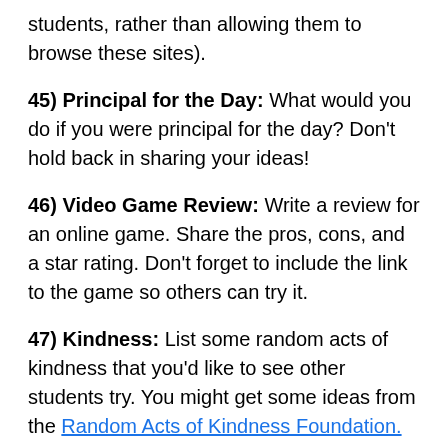students, rather than allowing them to browse these sites).
45) Principal for the Day: What would you do if you were principal for the day? Don't hold back in sharing your ideas!
46) Video Game Review: Write a review for an online game. Share the pros, cons, and a star rating. Don't forget to include the link to the game so others can try it.
47) Kindness: List some random acts of kindness that you'd like to see other students try. You might get some ideas from the Random Acts of Kindness Foundation.
48) Recipes: Pretend you're a food blogger! Share a recipe that you enjoy eating or making. Spice up your post with a photo of the end result.